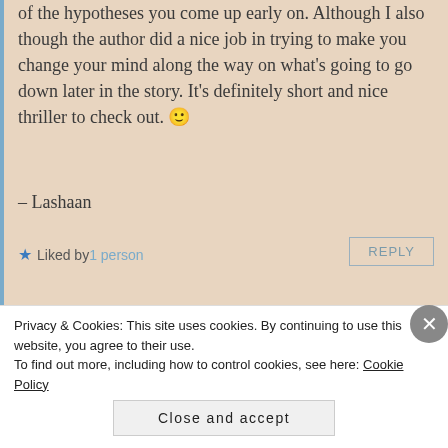of the hypotheses you come up early on. Although I also though the author did a nice job in trying to make you change your mind along the way on what's going to go down later in the story. It's definitely short and nice thriller to check out. 🙂
– Lashaan
★ Liked by 1 person
REPLY
theorangutanlibrarian
Privacy & Cookies: This site uses cookies. By continuing to use this website, you agree to their use.
To find out more, including how to control cookies, see here: Cookie Policy
Close and accept